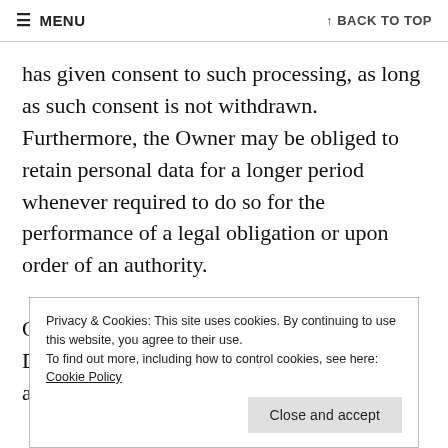≡ MENU   ↑ BACK TO TOP
has given consent to such processing, as long as such consent is not withdrawn. Furthermore, the Owner may be obliged to retain personal data for a longer period whenever required to do so for the performance of a legal obligation or upon order of an authority.

Once the retention period expires, Personal Data shall be deleted. Therefore, the right to access, the
Privacy & Cookies: This site uses cookies. By continuing to use this website, you agree to their use.
To find out more, including how to control cookies, see here: Cookie Policy
Close and accept